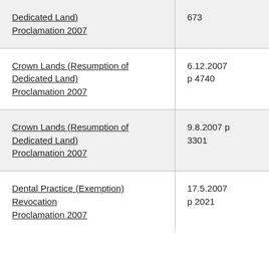| Crown Lands (Resumption of Dedicated Land) Proclamation 2007 | 673 |
| Crown Lands (Resumption of Dedicated Land) Proclamation 2007 | 6.12.2007 p 4740 |
| Crown Lands (Resumption of Dedicated Land) Proclamation 2007 | 9.8.2007 p 3301 |
| Dental Practice (Exemption) Revocation Proclamation 2007 | 17.5.2007 p 2021 |